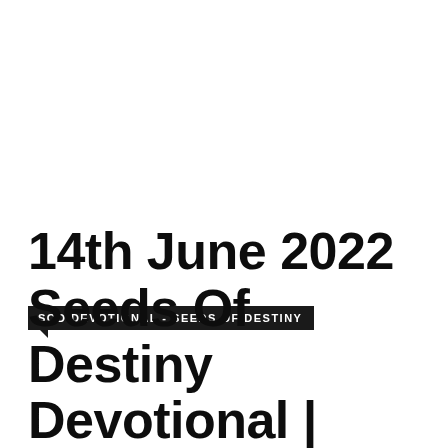SOD DEVOTIONAL - SEEDS OF DESTINY
14th June 2022 Seeds Of Destiny Devotional |